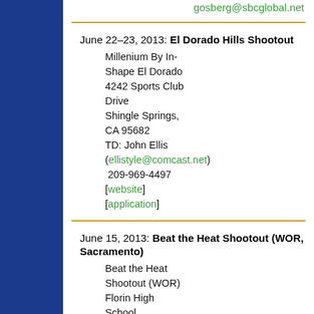gosberg@sbcglobal.net
June 22–23, 2013: El Dorado Hills Shootout
Millenium By In-Shape El Dorado 4242 Sports Club Drive
Shingle Springs, CA 95682
TD: John Ellis (ellistyle@comcast.net) 209-969-4497
[website] [application]
June 15, 2013: Beat the Heat Shootout (WOR, Sacramento)
Beat the Heat Shootout (WOR)
Florin High School